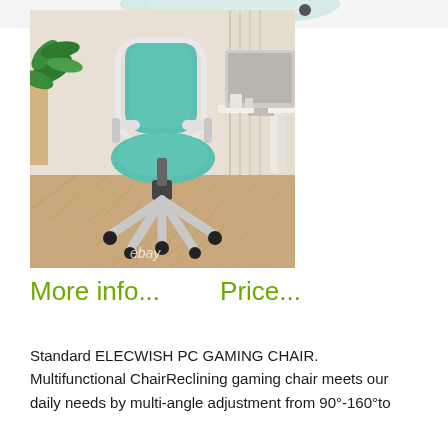[Figure (photo): A teal/green ergonomic office/gaming chair with white frame and armrests, on casters, placed on a wood-patterned floor next to a white desk, with a plant visible in the background. eBay watermark visible.]
More info...    Price...
Standard ELECWISH PC GAMING CHAIR. Multifunctional ChairReclining gaming chair meets our daily needs by multi-angle adjustment from 90°-160°to